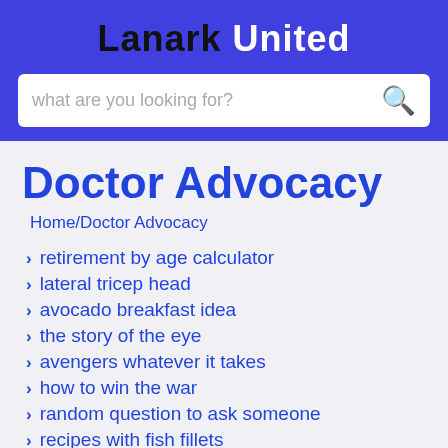Lanark United
what are you looking for?
Doctor Advocacy
Home/Doctor Advocacy
retirement by age calculator
lateral tricep head
avocado breakfast idea
the story of the eye
avengers whatever it takes
how to win the war
random question to ask someone
recipes with fish fillets
cary healthcare associates